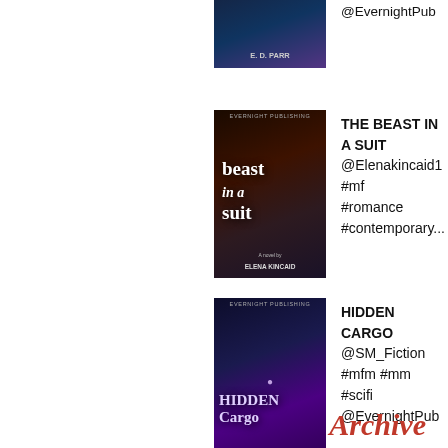[Figure (illustration): Partial book cover for 'PEARLS' by E. D. PARR, dark blue/purple background, sci-fi style]
@EvernightPub
[Figure (illustration): Book cover for 'beast in a suit' by Elena Kincaid, dark moody cover with couple]
THE BEAST IN A SUIT @Elenakincaid1 #mf #romance #contemporary...
[Figure (illustration): Book cover for 'HIDDEN CARGO' by Sarah Marsh, dark purple/blue sci-fi cover with female figure]
HIDDEN CARGO @SM_Fiction #mfm #mm #scifi @EvernightPub
Archive